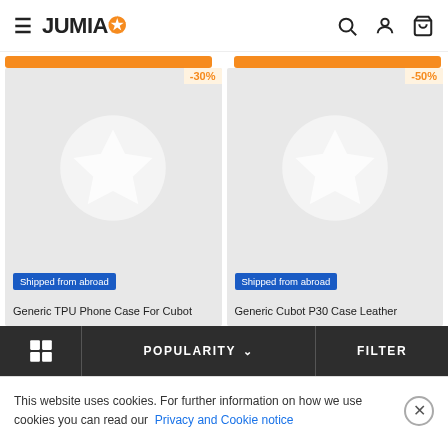JUMIA
[Figure (screenshot): Product card with -30% discount badge, Jumia star placeholder image, 'Shipped from abroad' badge, and title 'Generic TPU Phone Case For Cubot']
[Figure (screenshot): Product card with -50% discount badge, Jumia star placeholder image, 'Shipped from abroad' badge, and title 'Generic Cubot P30 Case Leather']
POPULARITY  FILTER
This website uses cookies. For further information on how we use cookies you can read our Privacy and Cookie notice